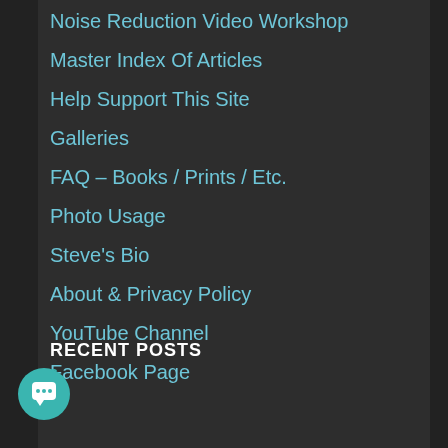Noise Reduction Video Workshop
Master Index Of Articles
Help Support This Site
Galleries
FAQ – Books / Prints / Etc.
Photo Usage
Steve's Bio
About & Privacy Policy
YouTube Channel
Facebook Page
RECENT POSTS
Top Ten Traits Of Great Wildlife Photographers
AMAZING: Slow Shutter Speed Wildlife Panning